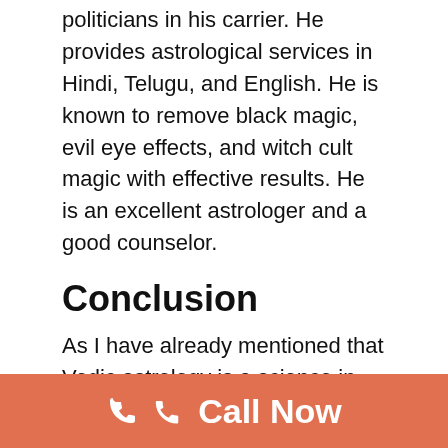politicians in his carrier. He provides astrological services in Hindi, Telugu, and English. He is known to remove black magic, evil eye effects, and witch cult magic with effective results. He is an excellent astrologer and a good counselor.
Conclusion
As I have already mentioned that Vedic astrology is a science in which we study our solar system, our Sun, Moon, other planets, stars, and their effect on human forms. This knowledge is older than other astrology like western astrology, KP, and Lal Kitab.
📞 Call Now